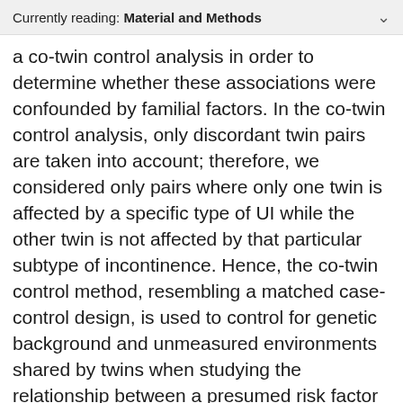Currently reading: Material and Methods
a co-twin control analysis in order to determine whether these associations were confounded by familial factors. In the co-twin control analysis, only discordant twin pairs are taken into account; therefore, we considered only pairs where only one twin is affected by a specific type of UI while the other twin is not affected by that particular subtype of incontinence. Hence, the co-twin control method, resembling a matched case-control design, is used to control for genetic background and unmeasured environments shared by twins when studying the relationship between a presumed risk factor and a disease (Spector, 2000). Because of its matched nature, it is possible to minimize confounding by factors shared within twin pairs such as intrauterine exposures, maternal factors, 50% dizygotic (DZ) or 100% monozygotic (MZ) of their